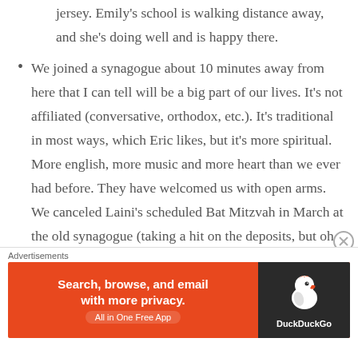jersey. Emily's school is walking distance away, and she's doing well and is happy there.
We joined a synagogue about 10 minutes away from here that I can tell will be a big part of our lives. It's not affiliated (conversative, orthodox, etc.). It's traditional in most ways, which Eric likes, but it's more spiritual. More english, more music and more heart than we ever had before. They have welcomed us with open arms. We canceled Laini's scheduled Bat Mitzvah in March at the old synagogue (taking a hit on the deposits, but oh well) and will instead celebrate her Bat Mitzvah in our new home in May.
Advertisements
[Figure (other): DuckDuckGo advertisement banner: orange background on left with text 'Search, browse, and email with more privacy. All in One Free App', dark background on right with DuckDuckGo duck logo and DuckDuckGo text.]